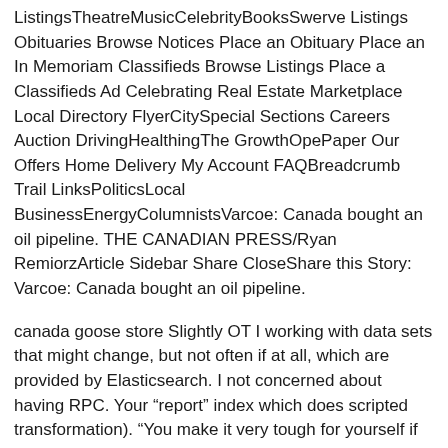ListingsTheatreMusicCelebrityBooksSwerve Listings Obituaries Browse Notices Place an Obituary Place an In Memoriam Classifieds Browse Listings Place a Classifieds Ad Celebrating Real Estate Marketplace Local Directory FlyerCitySpecial Sections Careers Auction DrivingHealthingThe GrowthOpePaper Our Offers Home Delivery My Account FAQBreadcrumb Trail LinksPoliticsLocal BusinessEnergyColumnistsVarcoe: Canada bought an oil pipeline. THE CANADIAN PRESS/Ryan RemiorzArticle Sidebar Share CloseShare this Story: Varcoe: Canada bought an oil pipeline.
canada goose store Slightly OT I working with data sets that might change, but not often if at all, which are provided by Elasticsearch. I not concerned about having RPC. Your “report” index which does scripted transformation). “You make it very tough for yourself if you keep losing too much,” Senators captain Daniel Alfredsson said. “I saw Philly last year and they were in a terrible stretch, but they caught on